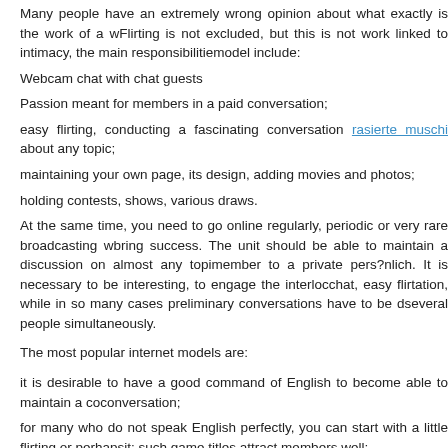Many people have an extremely wrong opinion about what exactly is the work of a webcam model. Flirting is not excluded, but this is not work linked to intimacy, the main responsibilities of a model include:
Webcam chat with chat guests
Passion meant for members in a paid conversation;
easy flirting, conducting a fascinating conversation rasierte muschi about any topic;
maintaining your own page, its design, adding movies and photos;
holding contests, shows, various draws.
At the same time, you need to go online regularly, periodic or very rare broadcasting will not bring success. The unit should be able to maintain a discussion on almost any topic, to invite a member to a private pers?nlich. It is necessary to be interesting, to engage the interlocutor in chat, easy flirtation, while in so many cases preliminary conversations have to be done with several people simultaneously.
The most popular internet models are:
it is desirable to have a good command of English to become able to maintain a competent conversation;
for many who do not speak English perfectly, you can start with a little flirting or perhaps it; such game titles attract members well;
for novices, a “ nude” style of communication is recommended, but each model sets boundaries independently; for example , topless games and seductive positions attract visitors well.